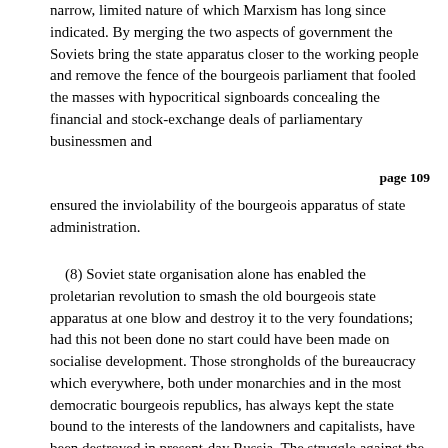narrow, limited nature of which Marxism has long since indicated. By merging the two aspects of government the Soviets bring the state apparatus closer to the working people and remove the fence of the bourgeois parliament that fooled the masses with hypocritical signboards concealing the financial and stock-exchange deals of parliamentary businessmen and
page 109
ensured the inviolability of the bourgeois apparatus of state administration.
(8) Soviet state organisation alone has enabled the proletarian revolution to smash the old bourgeois state apparatus at one blow and destroy it to the very foundations; had this not been done no start could have been made on socialise development. Those strongholds of the bureaucracy which everywhere, both under monarchies and in the most democratic bourgeois republics, has always kept the state bound to the interests of the landowners and capitalists, have been destroyed in present-day Russia. The struggle against the bureaucracy, however, is certainly not over in our country. The bureaucracy is trying to regain some of its positions and is taking advantage, on the one hand, of the